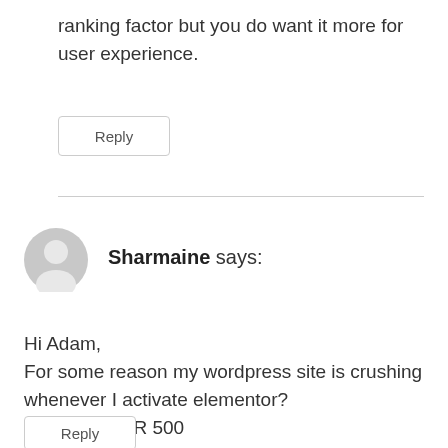ranking factor but you do want it more for user experience.
Reply
Sharmaine says:
Hi Adam,
For some reason my wordpress site is crushing whenever I activate elementor?
HTTP ERROR 500
Reply